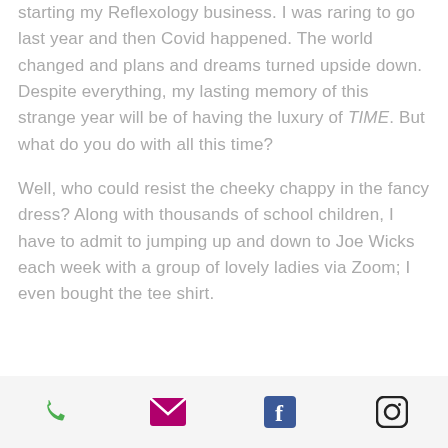starting my Reflexology business. I was raring to go last year and then Covid happened. The world changed and plans and dreams turned upside down. Despite everything, my lasting memory of this strange year will be of having the luxury of TIME. But what do you do with all this time?

Well, who could resist the cheeky chappy in the fancy dress? Along with thousands of school children, I have to admit to jumping up and down to Joe Wicks each week with a group of lovely ladies via Zoom; I even bought the tee shirt.
phone, email, facebook, instagram icons